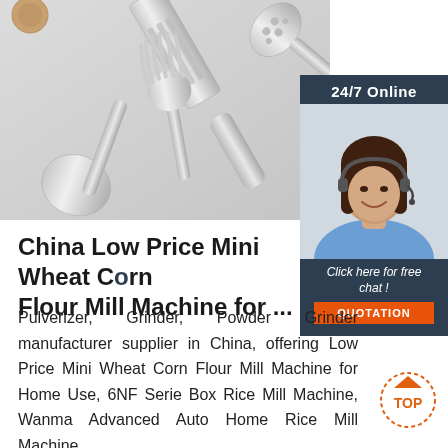[Figure (photo): Kitchen utensils including spatula, spoons, and a slotted server on a light gray background]
[Figure (photo): Customer service agent sidebar panel with 24/7 Online text, photo of a woman with headset, Click here for free chat text, and QUOTATION button]
China Low Price Mini Wheat Corn Flour Mill Machine for ...
Pulverizer, Grinder, Powder Grinder manufacturer supplier in China, offering Low Price Mini Wheat Corn Flour Mill Machine for Home Use, 6NF Serie Box Rice Mill Machine, Wanma Advanced Auto Home Rice Mill Machine
[Figure (logo): TOP badge logo in orange and red]